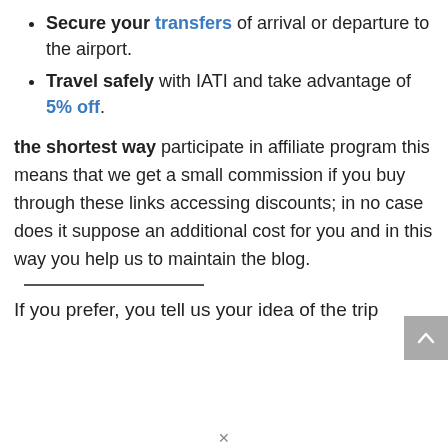Secure your transfers of arrival or departure to the airport.
Travel safely with IATI and take advantage of 5% off.
the shortest way participate in affiliate program this means that we get a small commission if you buy through these links accessing discounts; in no case does it suppose an additional cost for you and in this way you help us to maintain the blog.
If you prefer, you tell us your idea of the trip